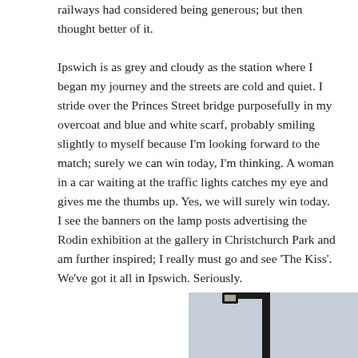railways had considered being generous; but then thought better of it.
Ipswich is as grey and cloudy as the station where I began my journey and the streets are cold and quiet. I stride over the Princes Street bridge purposefully in my overcoat and blue and white scarf, probably smiling slightly to myself because I’m looking forward to the match; surely we can win today, I’m thinking. A woman in a car waiting at the traffic lights catches my eye and gives me the thumbs up. Yes, we will surely win today. I see the banners on the lamp posts advertising the Rodin exhibition at the gallery in Christchurch Park and am further inspired; I really must go and see ‘The Kiss’. We’ve got it all in Ipswich. Seriously.
[Figure (photo): Partial photo of a lamp post against a grey sky, bottom-right of page, partially cut off]